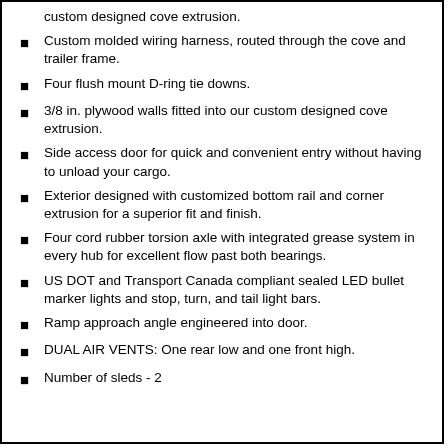custom designed cove extrusion.
Custom molded wiring harness, routed through the cove and trailer frame.
Four flush mount D-ring tie downs.
3/8 in. plywood walls fitted into our custom designed cove extrusion.
Side access door for quick and convenient entry without having to unload your cargo.
Exterior designed with customized bottom rail and corner extrusion for a superior fit and finish.
Four cord rubber torsion axle with integrated grease system in every hub for excellent flow past both bearings.
US DOT and Transport Canada compliant sealed LED bullet marker lights and stop, turn, and tail light bars.
Ramp approach angle engineered into door.
DUAL AIR VENTS: One rear low and one front high.
Number of sleds - 2